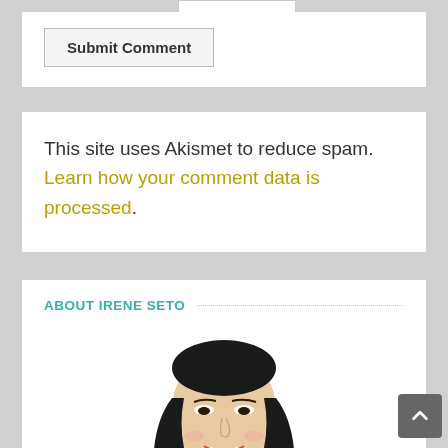Submit Comment
This site uses Akismet to reduce spam. Learn how your comment data is processed.
ABOUT IRENE SETO
[Figure (illustration): Illustrated portrait of Irene Seto, a woman with long dark hair, smiling, wearing a light-colored top]